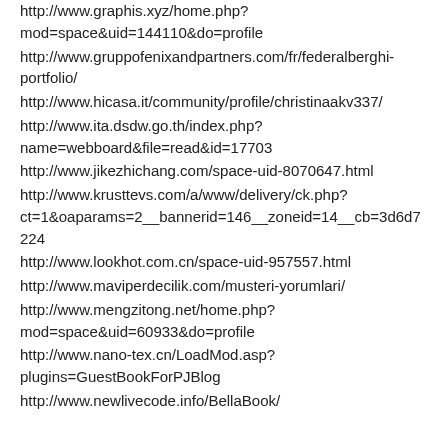http://www.graphis.xyz/home.php?mod=space&uid=144110&do=profile
http://www.gruppofenixandpartners.com/fr/federalberghi-portfolio/
http://www.hicasa.it/community/profile/christinaakv337/
http://www.ita.dsdw.go.th/index.php?name=webboard&file=read&id=17703
http://www.jikezhichang.com/space-uid-8070647.html
http://www.krusttevs.com/a/www/delivery/ck.php?ct=1&oaparams=2__bannerid=146__zoneid=14__cb=3d6d7224
http://www.lookhot.com.cn/space-uid-957557.html
http://www.maviperdecilik.com/musteri-yorumlari/
http://www.mengzitong.net/home.php?mod=space&uid=60933&do=profile
http://www.nano-tex.cn/LoadMod.asp?plugins=GuestBookForPJBlog
http://www.newlivecode.info/BellaBook/